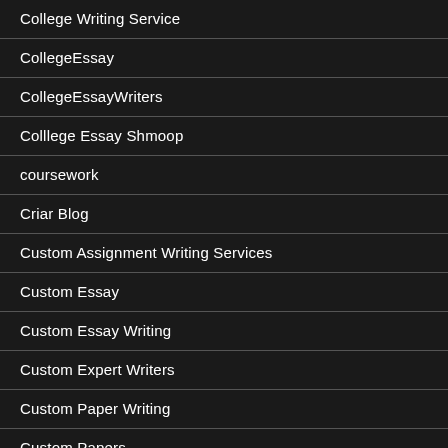College Writing Service
CollegeEssay
CollegeEssayWriters
Colllege Essay Shmoop
coursework
Criar Blog
Custom Assignment Writing Services
Custom Essay
Custom Essay Writing
Custom Expert Writers
Custom Paper Writing
Custom Papers
Custom Papers For Students